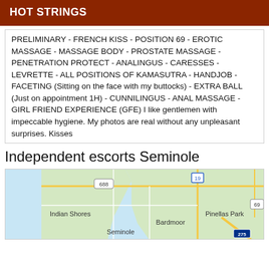HOT STRINGS
PRELIMINARY - FRENCH KISS - POSITION 69 - EROTIC MASSAGE - MASSAGE BODY - PROSTATE MASSAGE - PENETRATION PROTECT - ANALINGUS - CARESSES - LEVRETTE - ALL POSITIONS OF KAMASUTRA - HANDJOB - FACETING (Sitting on the face with my buttocks) - EXTRA BALL (Just on appointment 1H) - CUNNILINGUS - ANAL MASSAGE - GIRL FRIEND EXPERIENCE (GFE) I like gentlemen with impeccable hygiene. My photos are real without any unpleasant surprises. Kisses
Independent escorts Seminole
[Figure (map): Google Maps showing Seminole, Florida area with Indian Shores, Bardmoor, Pinellas Park, and route markers 688, 19, 69, 275 visible.]